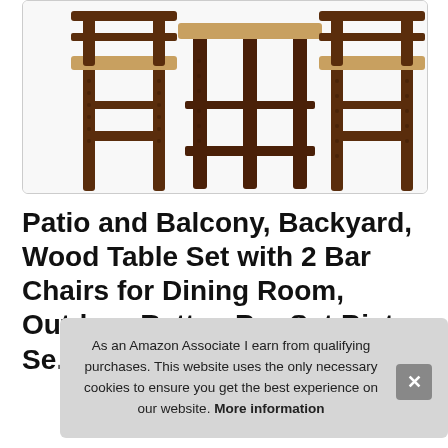[Figure (photo): Product photo of a dark brown rattan/wicker outdoor bar table set with 2 bar stools, showing the metal frame construction with footrests. The furniture has a woven dark brown finish.]
Patio and Balcony, Backyard, Wood Table Set with 2 Bar Chairs for Dining Room, Outdoor Rattan Bar Set Bistro Se... PO...
As an Amazon Associate I earn from qualifying purchases. This website uses the only necessary cookies to ensure you get the best experience on our website. More information